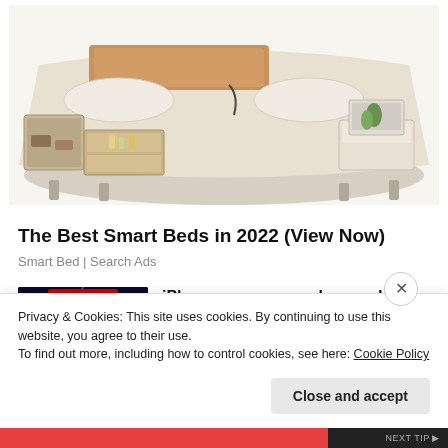[Figure (photo): A modern smart bed with beige/cream upholstery, showing storage drawers open at the side with small items inside, a wooden panel headboard, and various features including massage functions. The bed is photographed from above at an angle on a white background.]
The Best Smart Beds in 2022 (View Now)
Smart Bed | Search Ads
[Figure (photo): Marvel Strike Force game promotional image featuring characters KYRIE and MIGHTY THOR against a dark blue/purple lightning background. Two superhero characters are shown in dynamic poses with Marvel Strike Force logo at top.]
iPhone owners are obsessed with this Marvel game
MARVEL Strike Force
Privacy & Cookies: This site uses cookies. By continuing to use this website, you agree to their use.
To find out more, including how to control cookies, see here: Cookie Policy
Close and accept